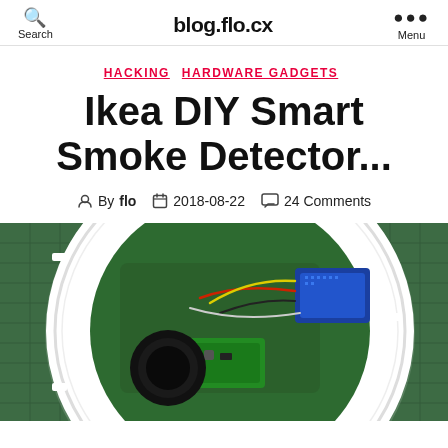blog.flo.cx  Search  Menu
HACKING  HARDWARE GADGETS
Ikea DIY Smart Smoke Detector...
By flo  2018-08-22  24 Comments
[Figure (photo): Open IKEA smoke detector showing internal PCB with wired electronic components including a blue microcontroller board, red and yellow wires, on a green cutting mat background]